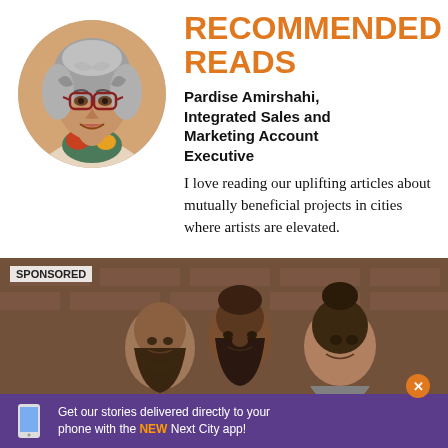[Figure (photo): Circular headshot photo of Pardise Amirshahi, a woman with gray hair and red glasses, smiling, wearing a colorful scarf]
RECOMMENDED READS
Pardise Amirshahi, Integrated Sales and Marketing Account Executive
I love reading our uplifting articles about mutually beneficial projects in cities where artists are elevated.
[Figure (photo): Sponsored banner photo showing three smiling men posing together in front of a brick wall background, with a purple app promotion bar overlay reading: Get our stories delivered directly to your phone with the NEW Next City app!]